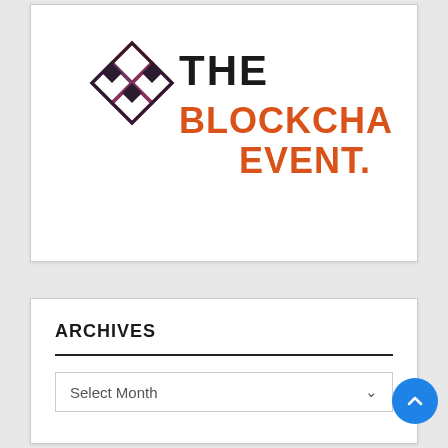[Figure (logo): The Blockchain Event logo: geometric diamond pattern on the left in dark/maroon outlines, followed by bold text 'THE' in black and 'BLOCKCHAIN EVENT.' in orange on the right]
ARCHIVES
Select Month